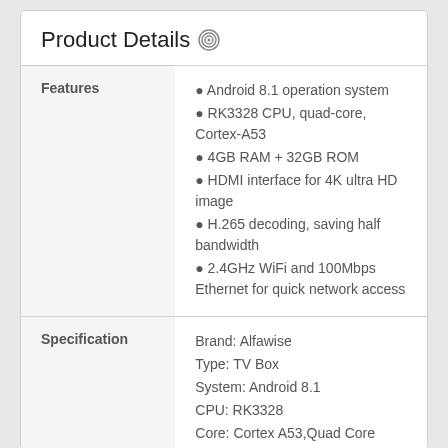Product Details
|  |  |
| --- | --- |
| Features | • Android 8.1 operation system
• RK3328 CPU, quad-core, Cortex-A53
• 4GB RAM + 32GB ROM
• HDMI interface for 4K ultra HD image
• H.265 decoding, saving half bandwidth
• 2.4GHz WiFi and 100Mbps Ethernet for quick network access |
| Specification | Brand: Alfawise
Type: TV Box
System: Android 8.1
CPU: RK3328
Core: Cortex A53,Quad Core
RAM: 4G
RAM Type: DDR3 |